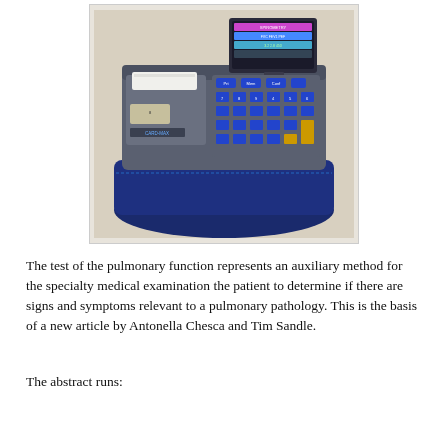[Figure (photo): A portable pulmonary function testing device (spirometer) with a blue carrying case, keyboard with blue and yellow keys, a color display screen, and a built-in printer with paper roll.]
The test of the pulmonary function represents an auxiliary method for the specialty medical examination the patient to determine if there are signs and symptoms relevant to a pulmonary pathology. This is the basis of a new article by Antonella Chesca and Tim Sandle.
The abstract runs: